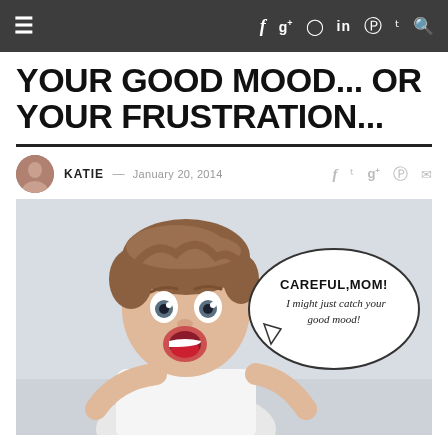≡  f  g+  ⊙  in  ℗  🐦  🔍
YOUR GOOD MOOD... OR YOUR FRUSTRATION...
KATIE — JANUARY 20, 2014
[Figure (photo): A surprised young boy with brown hair and wide eyes, mouth open, wearing a white t-shirt. A speech bubble reads: CAREFUL,MOM! I might just catch your good mood!]